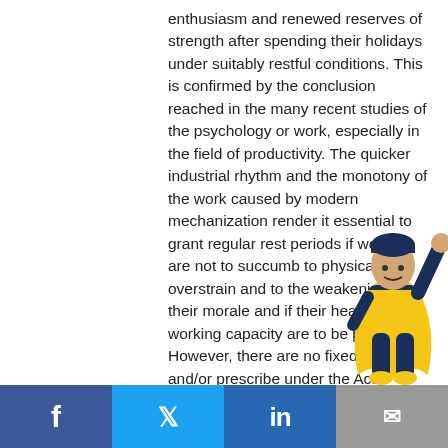enthusiasm and renewed reserves of strength after spending their holidays under suitably restful conditions. This is confirmed by the conclusion reached in the many recent studies of the psychology or work, especially in the field of productivity. The quicker industrial rhythm and the monotony of the work caused by modern mechanization render it essential to grant regular rest periods if workers are not to succumb to physical overstrain and to the weakening of their morale and if their health and working capacity are to be preserved. However, there are no fixed holidays and/or prescribe under the Act. Sub-section (14)—“working hours” The phrase “working hours” or “hours of work” as defined in this sub-section means the time during which the persons
[Figure (illustration): Cartoon superhero figure in dark blue and yellow costume, right arm raised in fist, positioned in bottom-right of the text area]
Facebook | Twitter | LinkedIn | Email